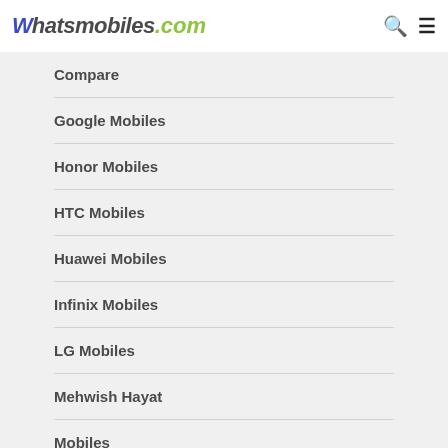Whatsmobiles.com
Compare
Google Mobiles
Honor Mobiles
HTC Mobiles
Huawei Mobiles
Infinix Mobiles
LG Mobiles
Mehwish Hayat
Mobiles
Most Read